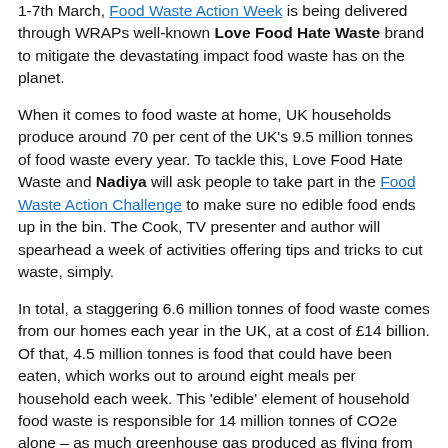1-7th March, Food Waste Action Week is being delivered through WRAPs well-known Love Food Hate Waste brand to mitigate the devastating impact food waste has on the planet.
When it comes to food waste at home, UK households produce around 70 per cent of the UK's 9.5 million tonnes of food waste every year. To tackle this, Love Food Hate Waste and Nadiya will ask people to take part in the Food Waste Action Challenge to make sure no edible food ends up in the bin. The Cook, TV presenter and author will spearhead a week of activities offering tips and tricks to cut waste, simply.
In total, a staggering 6.6 million tonnes of food waste comes from our homes each year in the UK, at a cost of £14 billion. Of that, 4.5 million tonnes is food that could have been eaten, which works out to around eight meals per household each week. This 'edible' element of household food waste is responsible for 14 million tonnes of CO2e alone – as much greenhouse gas produced as flying from London to Perth more than 4.5 million times.